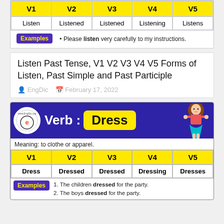| V1 | V2 | V3 | V4 | V5 |
| --- | --- | --- | --- | --- |
| Listen | Listened | Listened | Listening | Listens |
Examples • Please listen very carefully to my instructions.
Listen Past Tense, V1 V2 V3 V4 V5 Forms of Listen, Past Simple and Past Participle
EngDic  February 17, 2022
[Figure (infographic): Verb: Dress banner with EngDic logo, blue background, yellow text box and cartoon girl illustration]
Meaning: to clothe or apparel.
| V1 | V2 | V3 | V4 | V5 |
| --- | --- | --- | --- | --- |
| Dress | Dressed | Dressed | Dressing | Dresses |
Examples 1. The children dressed for the party. 2. The boys dressed for the party.